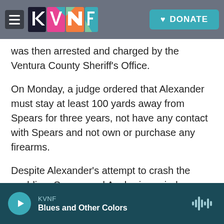[Figure (screenshot): KVNF radio station website header with hamburger menu, KVNF colorful logo, and teal DONATE button over a dark photographic background]
was then arrested and charged by the Ventura County Sheriff's Office.
On Monday, a judge ordered that Alexander must stay at least 100 yards away from Spears for three years, not have any contact with Spears and not own or purchase any firearms.
Despite Alexander's attempt to crash the wedding, Spears and Asghari married on Thursday in front of a small group of friends and family that included Selena Gomez, Madonna, Drew Barrymore, Paris Hilton and Donatella Versace.
KVNF — Blues and Other Colors